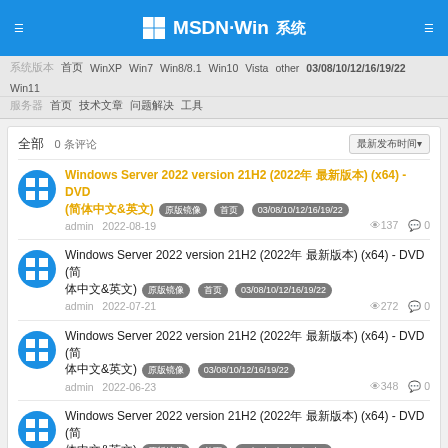MSDN·Win系统
系统版本 首页 WinXP Win7 Win8/8.1 Win10 Vista other 03/08/10/12/16/19/22 Win11
服务器 首页 技术文章 问题解决 工具
全部 0 条评论
Windows Server 2022 version 21H2 (2022年 最新版本) (x64) - DVD (简体中文&英文) 原版镜像 首页 03/08/10/12/16/19/22 | admin 2022-08-19 | 阅137 评0
Windows Server 2022 version 21H2 (2022年 最新版本) (x64) - DVD (简体中文&英文) 原版镜像 首页 03/08/10/12/16/19/22 | admin 2022-07-21 | 阅272 评0
Windows Server 2022 version 21H2 (2022年 最新版本) (x64) - DVD (简体中文&英文) 原版镜像 03/08/10/12/16/19/22 | admin 2022-06-23 | 阅348 评0
Windows Server 2022 version 21H2 (2022年 最新版本) (x64) - DVD (简体中文&英文) 原版镜像 首页 03/08/10/12/16/19/22 | admin 2022-05-19 | 阅547 评0